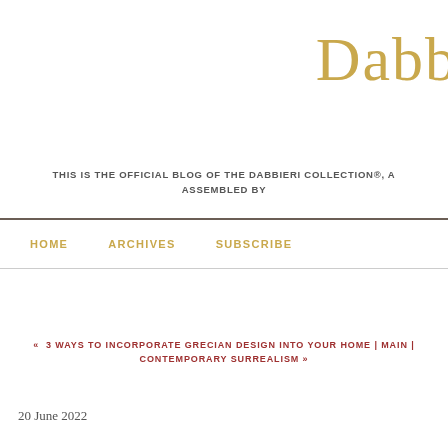Dabb
THIS IS THE OFFICIAL BLOG OF THE DABBIERI COLLECTION®, A
ASSEMBLED BY
HOME    ARCHIVES    SUBSCRIBE
« 3 WAYS TO INCORPORATE GRECIAN DESIGN INTO YOUR HOME | MAIN | CONTEMPORARY SURREALISM »
20 June 2022